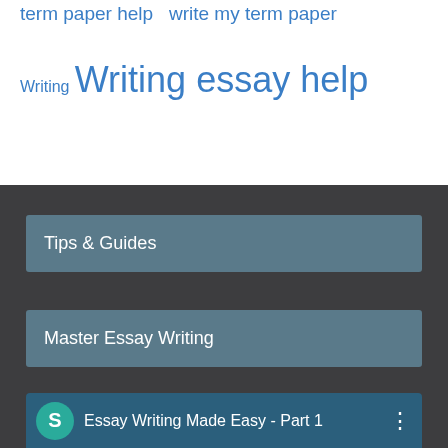term paper help  write my term paper
Writing  Writing essay help
Tips & Guides
Master Essay Writing
[Figure (screenshot): Video thumbnail bar with teal avatar letter S and title 'Essay Writing Made Easy - Part 1' on blue background with three-dot menu icon]